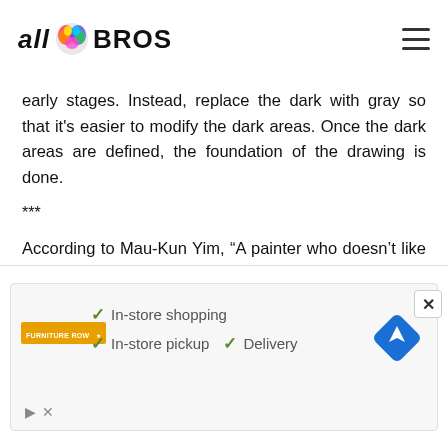all BROS
early stages. Instead, replace the dark with gray so that it's easier to modify the dark areas. Once the dark areas are defined, the foundation of the drawing is done.
***
According to Mau-Kun Yim, “A painter who doesn’t like painting defies the imagination. A painter at work is just like a farmer tilling the field or a blacksmith striking the iron. So it is with me and
[Figure (infographic): Advertisement banner showing Furniture Row store with checkmarks for In-store shopping, In-store pickup, and Delivery, with a navigation/directions icon.]